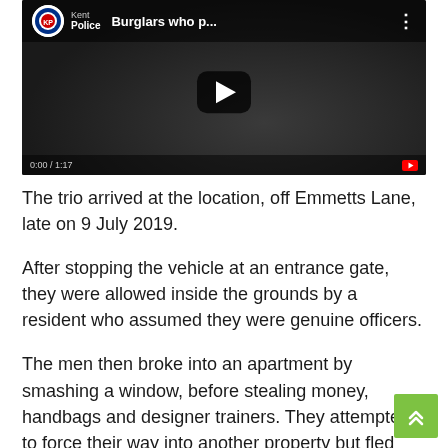[Figure (screenshot): YouTube video thumbnail showing Kent Police channel video titled 'Burglars who p...' with a dark background and play button]
The trio arrived at the location, off Emmetts Lane, late on 9 July 2019.
After stopping the vehicle at an entrance gate, they were allowed inside the grounds by a resident who assumed they were genuine officers.
The men then broke into an apartment by smashing a window, before stealing money, handbags and designer trainers. They attempted to force their way into another property but fled after being